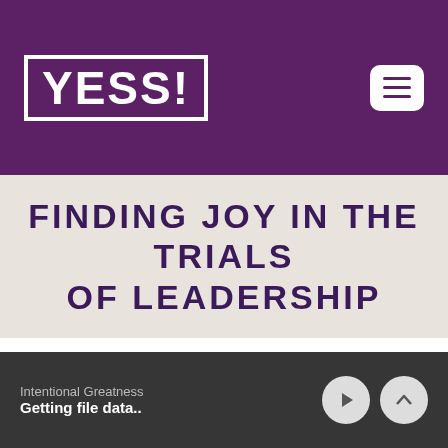YESS!
FINDING JOY IN THE TRIALS OF LEADERSHIP
Back to Posts
SHARE THIS POST:
SEPTEMBER 30, 2019 9:12 AM | PUBLISHED BY SUE HAWKES
Intentional Greatness
Getting file data..